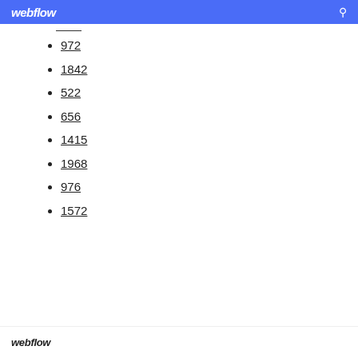webflow
972
1842
522
656
1415
1968
976
1572
webflow